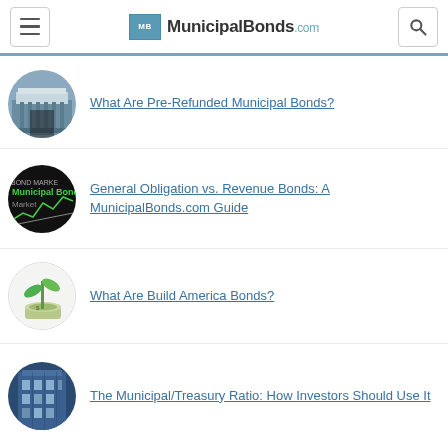MunicipalBonds.com
What Are Pre-Refunded Municipal Bonds?
General Obligation vs. Revenue Bonds: A MunicipalBonds.com Guide
What Are Build America Bonds?
The Municipal/Treasury Ratio: How Investors Should Use It